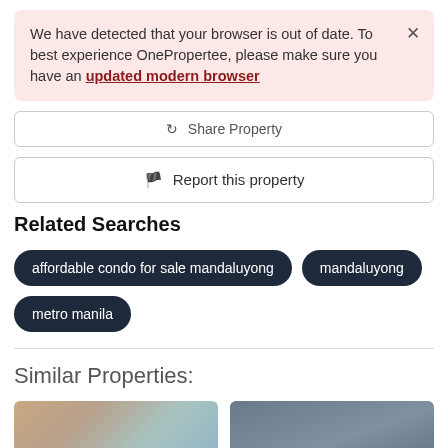We have detected that your browser is out of date. To best experience OnePropertee, please make sure you have an updated modern browser
⟳ Share Property
🚩 Report this property
Related Searches
affordable condo for sale mandaluyong
mandaluyong
metro manila
Similar Properties:
[Figure (photo): Thumbnail image of a property listing, showing a blurred interior or exterior shot with warm tones]
[Figure (photo): Thumbnail image of a property listing, showing a blurred exterior shot with grey/blue tones]